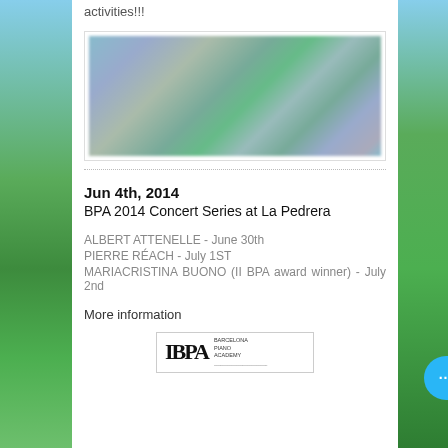activities!!!
[Figure (photo): Blurred outdoor photo, likely a concert or event scene]
Jun 4th, 2014
BPA 2014 Concert Series at La Pedrera
ALBERT ATTENELLE - June 30th
PIERRE RÉACH - July 1ST
MARIACRISTINA BUONO (II BPA award winner) - July 2nd
More information
[Figure (logo): BPA Barcelona Piano Academy logo]